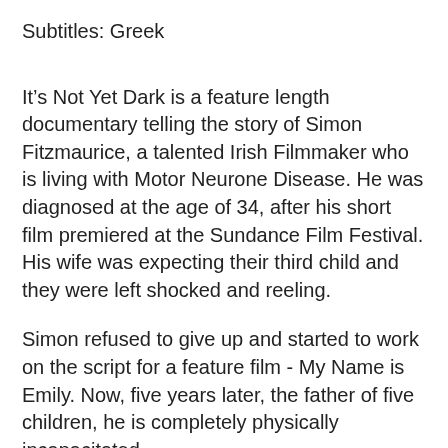Subtitles: Greek
It's Not Yet Dark is a feature length documentary telling the story of Simon Fitzmaurice, a talented Irish Filmmaker who is living with Motor Neurone Disease. He was diagnosed at the age of 34, after his short film premiered at the Sundance Film Festival. His wife was expecting their third child and they were left shocked and reeling.
Simon refused to give up and started to work on the script for a feature film - My Name is Emily. Now, five years later, the father of five children, he is completely physically incapacitated.
Narrated by Colin Farrell, and using extracts from Simon's best selling